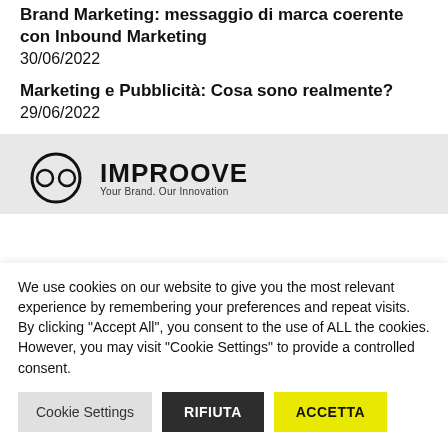Brand Marketing: messaggio di marca coerente con Inbound Marketing
30/06/2022
Marketing e Pubblicità: Cosa sono realmente?
29/06/2022
[Figure (logo): IMPROOVE logo with circular icon containing 'oo' and tagline 'Your Brand. Our Innovation']
We use cookies on our website to give you the most relevant experience by remembering your preferences and repeat visits. By clicking "Accept All", you consent to the use of ALL the cookies. However, you may visit "Cookie Settings" to provide a controlled consent.
Cookie Settings | RIFIUTA | ACCETTA